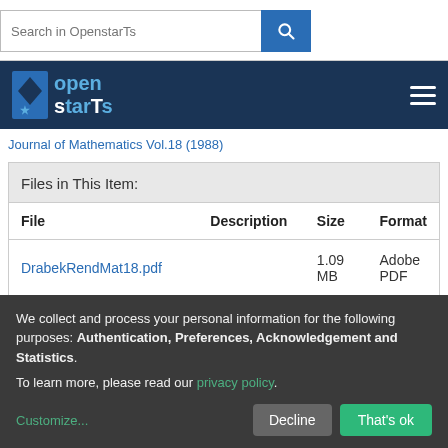Search in OpenstarTs
[Figure (logo): OpenstarTs logo in dark blue navigation bar with hamburger menu]
Journal of Mathematics Vol.18 (1988)
Files in This Item:
| File | Description | Size | Format |
| --- | --- | --- | --- |
| DrabekRendMat18.pdf |  | 1.09 MB | Adobe PDF |
We collect and process your personal information for the following purposes: Authentication, Preferences, Acknowledgement and Statistics.
To learn more, please read our privacy policy.
Customize...
Decline  That's ok